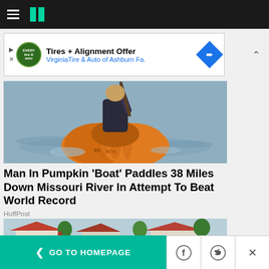HuffPost navigation bar with hamburger menu and logo
[Figure (other): Advertisement banner: Tires + Alignment Offer – VirginiaTire & Auto of Ashburn Fa.]
[Figure (photo): Man sitting inside a large orange pumpkin used as a boat, paddling on water]
Man In Pumpkin 'Boat' Paddles 38 Miles Down Missouri River In Attempt To Beat World Record
HuffPost
[Figure (photo): Flooded suburban neighborhood with houses, trees and standing water on the street]
< GO TO HOMEPAGE